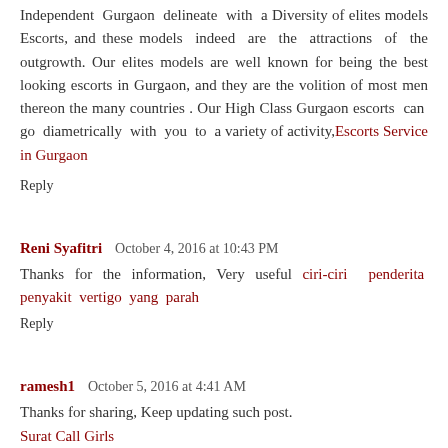Independent Gurgaon delineate with a Diversity of elites models Escorts, and these models indeed are the attractions of the outgrowth. Our elites models are well known for being the best looking escorts in Gurgaon, and they are the volition of most men thereon the many countries . Our High Class Gurgaon escorts can go diametrically with you to a variety of activity,Escorts Service in Gurgaon
Reply
Reni Syafitri  October 4, 2016 at 10:43 PM
Thanks for the information, Very useful ciri-ciri penderita penyakit vertigo yang parah
Reply
ramesh1  October 5, 2016 at 4:41 AM
Thanks for sharing, Keep updating such post. Surat Call Girls
Reply